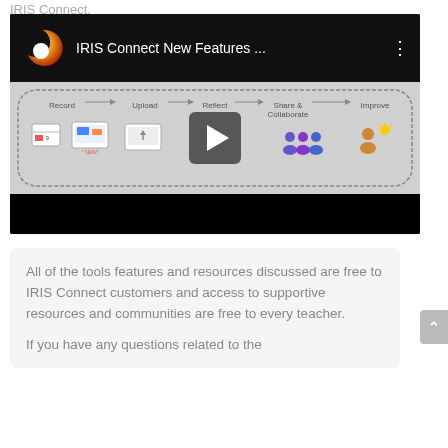IRIS Connect.
[Figure (screenshot): YouTube-style video thumbnail for 'IRIS Connect New Features ...' showing IRIS Connect logo (orange/yellow swirl) in top bar, with a workflow diagram below showing steps: Record, Upload, Reflect, Share & Collaborate, Improve, and a play button overlay in the center. Black bars at top and bottom.]
All of the tools features and resources discussed are free to IRIS Connect customers and access to supportive resources and communities are free to every teacher.
If you have any questions related to the